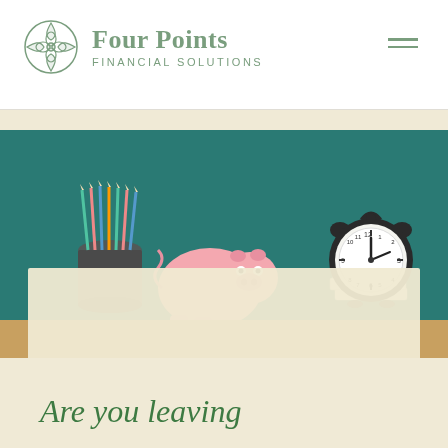[Figure (logo): Four Points Financial Solutions logo with Celtic knot compass rose icon in sage green]
[Figure (photo): Photo of a desk scene against a teal/dark green background showing colored pencils in a cup holder, a pink piggy bank, and a black alarm clock sitting on white books on a wooden shelf]
Are you leaving